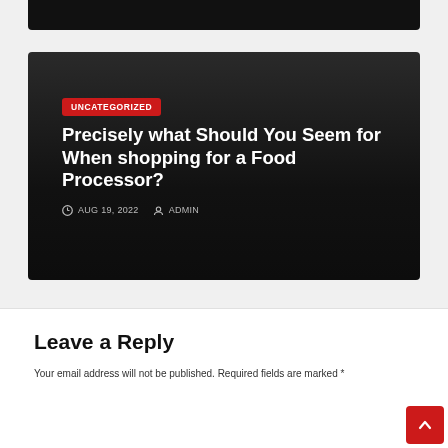[Figure (screenshot): Partially visible dark article card at top of page]
UNCATEGORIZED
Precisely what Should You Seem for When shopping for a Food Processor?
AUG 19, 2022   ADMIN
Leave a Reply
Your email address will not be published. Required fields are marked *